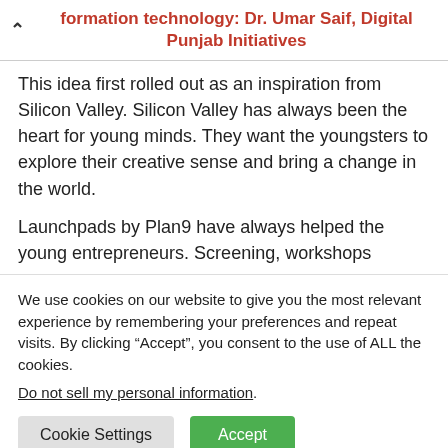formation technology: Dr. Umar Saif, Digital Punjab Initiatives
This idea first rolled out as an inspiration from Silicon Valley. Silicon Valley has always been the heart for young minds. They want the youngsters to explore their creative sense and bring a change in the world.
Launchpads by Plan9 have always helped the young entrepreneurs. Screening, workshops
We use cookies on our website to give you the most relevant experience by remembering your preferences and repeat visits. By clicking “Accept”, you consent to the use of ALL the cookies.
Do not sell my personal information.
Cookie Settings   Accept